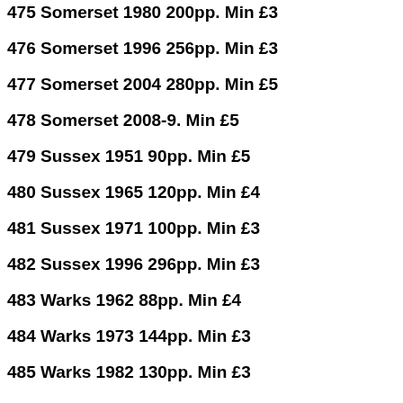475 Somerset 1980 200pp. Min £3
476 Somerset 1996 256pp. Min £3
477 Somerset 2004 280pp. Min £5
478 Somerset 2008-9. Min £5
479 Sussex 1951 90pp. Min £5
480 Sussex 1965 120pp. Min £4
481 Sussex 1971 100pp. Min £3
482 Sussex 1996 296pp. Min £3
483 Warks 1962 88pp. Min £4
484 Warks 1973 144pp. Min £3
485 Warks 1982 130pp. Min £3